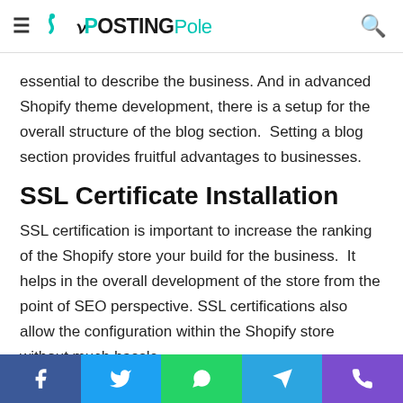PostingPole
essential to describe the business. And in advanced Shopify theme development, there is a setup for the overall structure of the blog section.  Setting a blog section provides fruitful advantages to businesses.
SSL Certificate Installation
SSL certification is important to increase the ranking of the Shopify store your build for the business.  It helps in the overall development of the store from the point of SEO perspective. SSL certifications also allow the configuration within the Shopify store without much hassle.
Customizing the Cart Checkout